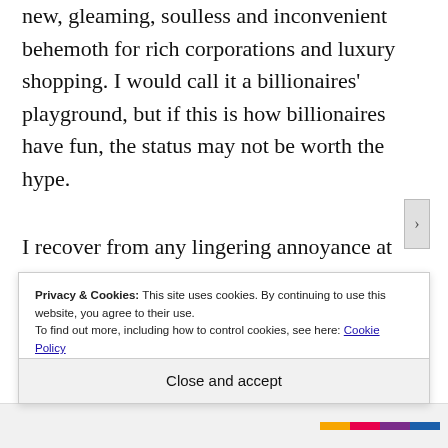new, gleaming, soulless and inconvenient behemoth for rich corporations and luxury shopping. I would call it a billionaires' playground, but if this is how billionaires have fun, the status may not be worth the hype.
I recover from any lingering annoyance at ugly developments with a stroll up Central Park East to the Met. The art
Privacy & Cookies: This site uses cookies. By continuing to use this website, you agree to their use.
To find out more, including how to control cookies, see here: Cookie Policy
Close and accept